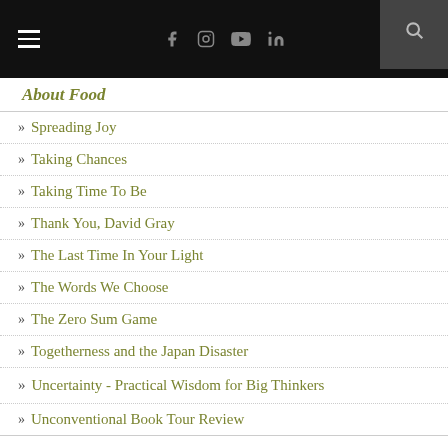Navigation menu with hamburger icon, social icons (Facebook, Instagram, YouTube, LinkedIn), and search
» About Food
» Spreading Joy
» Taking Chances
» Taking Time To Be
» Thank You, David Gray
» The Last Time In Your Light
» The Words We Choose
» The Zero Sum Game
» Togetherness and the Japan Disaster
» Uncertainty - Practical Wisdom for Big Thinkers
» Unconventional Book Tour Review
► Must Read
► Personal Journey
► Social Causes